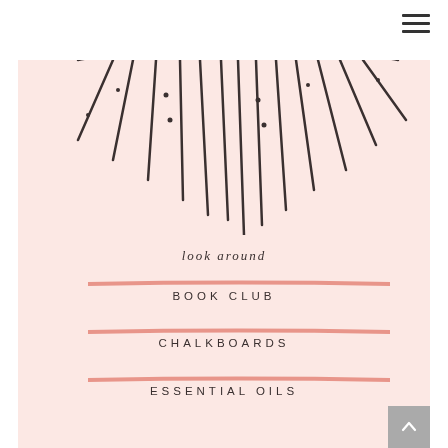[Figure (illustration): Hamburger menu icon (three horizontal lines) in top right corner]
[Figure (illustration): Decorative sunburst/starburst illustration with radiating lines and dots on a blush pink background, partially cropped at top]
look around
BOOK CLUB
CHALKBOARDS
ESSENTIAL OILS